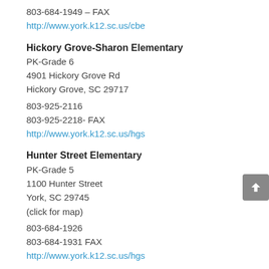803-684-1949 – FAX
http://www.york.k12.sc.us/cbe
Hickory Grove-Sharon Elementary
PK-Grade 6
4901 Hickory Grove Rd
Hickory Grove, SC 29717
803-925-2116
803-925-2218- FAX
http://www.york.k12.sc.us/hgs
Hunter Street Elementary
PK-Grade 5
1100 Hunter Street
York, SC 29745
(click for map)
803-684-1926
803-684-1931 FAX
http://www.york.k12.sc.us/hgs